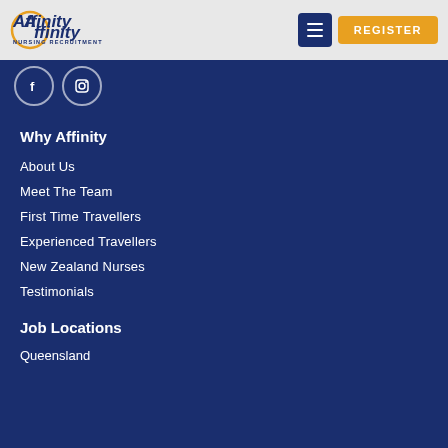[Figure (logo): Affinity Nursing Recruitment logo with gold circle and dark navy text]
[Figure (other): Hamburger menu button (dark navy) and Register button (gold/orange)]
[Figure (other): Facebook and Instagram social media icons as circular icons]
Why Affinity
About Us
Meet The Team
First Time Travellers
Experienced Travellers
New Zealand Nurses
Testimonials
Job Locations
Queensland